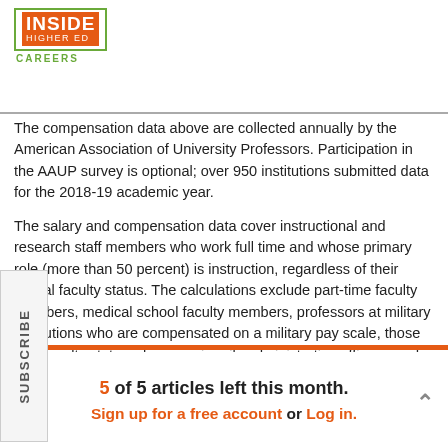[Figure (logo): Inside Higher Ed Careers logo — green border box, orange background with white INSIDE HIGHER ED text, green CAREERS text below]
The compensation data above are collected annually by the American Association of University Professors. Participation in the AAUP survey is optional; over 950 institutions submitted data for the 2018-19 academic year.
The salary and compensation data cover instructional and research staff members who work full time and whose primary role (more than 50 percent) is instruction, regardless of their official faculty status. The calculations exclude part-time faculty members, medical school faculty members, professors at military institutions who are compensated on a military pay scale, those with faculty status who are primarily administrative officers, and graduate teaching assistants. Some institutions include data for professional school faculty members.
Salary figures exclude summer teaching, stipends and other non-contracted forms of remuneration. When instructors are compensated
5 of 5 articles left this month.
Sign up for a free account or Log in.